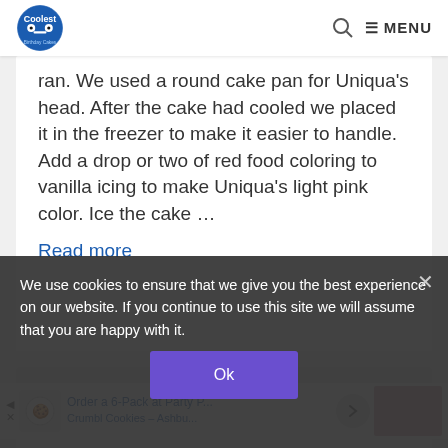Coolest Birthday Cakes — MENU
ran. We used a round cake pan for Uniqua's head. After the cake had cooled we placed it in the freezer to make it easier to handle. Add a drop or two of red food coloring to vanilla icing to make Uniqua's light pink color. Ice the cake … Read more
Coolest Uniqua Birthday Cake
We use cookies to ensure that we give you the best experience on our website. If you continue to use this site we will assume that you are happy with it.
Ok